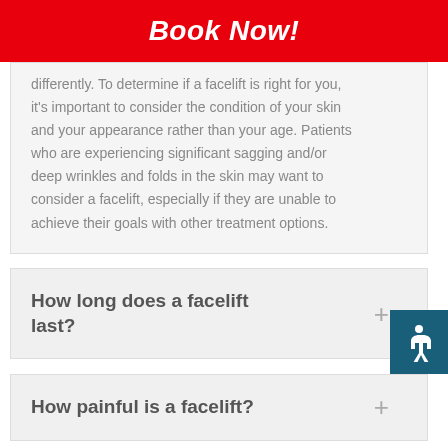Book Now!
differently. To determine if a facelift is right for you, it's important to consider the condition of your skin and your appearance rather than your age. Patients who are experiencing significant sagging and/or deep wrinkles and folds in the skin may want to consider a facelift, especially if they are unable to achieve their goals with other treatment options.
How long does a facelift last?
How painful is a facelift?